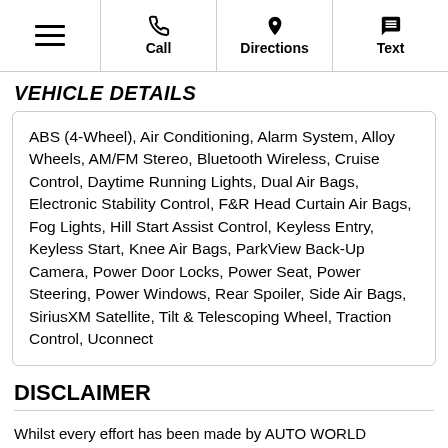☰  Call  Directions  Text
VEHICLE DETAILS
ABS (4-Wheel), Air Conditioning, Alarm System, Alloy Wheels, AM/FM Stereo, Bluetooth Wireless, Cruise Control, Daytime Running Lights, Dual Air Bags, Electronic Stability Control, F&R Head Curtain Air Bags, Fog Lights, Hill Start Assist Control, Keyless Entry, Keyless Start, Knee Air Bags, ParkView Back-Up Camera, Power Door Locks, Power Seat, Power Steering, Power Windows, Rear Spoiler, Side Air Bags, SiriusXM Satellite, Tilt & Telescoping Wheel, Traction Control, Uconnect
DISCLAIMER
Whilst every effort has been made by AUTO WORLD